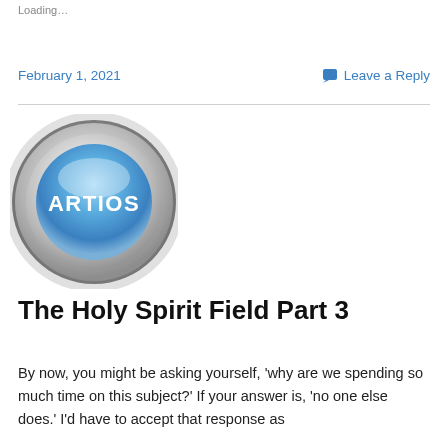Loading…
February 1, 2021
Leave a Reply
[Figure (logo): Circular silver metallic button logo with blue gradient center and white bold text reading ARTIOS]
The Holy Spirit Field Part 3
By now, you might be asking yourself, 'why are we spending so much time on this subject?' If your answer is, 'no one else does.' I'd have to accept that response as